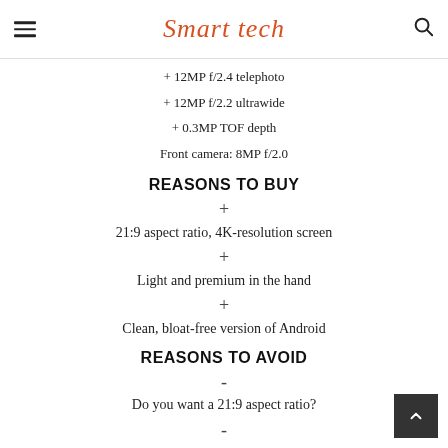Smart tech
+ 12MP f/2.4 telephoto
+ 12MP f/2.2 ultrawide
+ 0.3MP TOF depth
Front camera: 8MP f/2.0
REASONS TO BUY
+ 21:9 aspect ratio, 4K-resolution screen
+ Light and premium in the hand
+ Clean, bloat-free version of Android
REASONS TO AVOID
- Do you want a 21:9 aspect ratio?
-